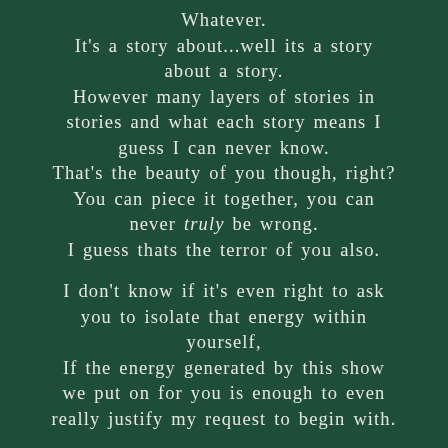Whatever.
It's a story about...well its a story about a story.
However many layers of stories in stories and what each story means I guess I can never know.
That's the beauty of you though, right?
You can piece it together, you can never truly be wrong.
I guess thats the terror of you also.

I don't know if it's even right to ask you to isolate that energy within yourself,
If the energy generated by this show we put on for you is enough to even really justify my request to begin with.

I guess that's also up to you... I'll never know myself if you choose not to